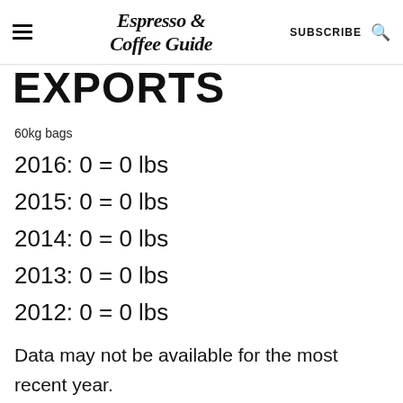Espresso & Coffee Guide | SUBSCRIBE
EXPORTS
60kg bags
2016: 0 = 0 lbs
2015: 0 = 0 lbs
2014: 0 = 0 lbs
2013: 0 = 0 lbs
2012: 0 = 0 lbs
Data may not be available for the most recent year.